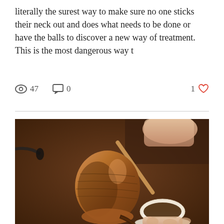literally the surest way to make sure no one sticks their neck out and does what needs to be done or have the balls to discover a new way of treatment. This is the most dangerous way t
47   0   1 ♥
[Figure (photo): A hand pouring dark coffee from a hammered copper Turkish coffee pot (cezve) into a small decorative cup with a floral saucer on a wooden table.]